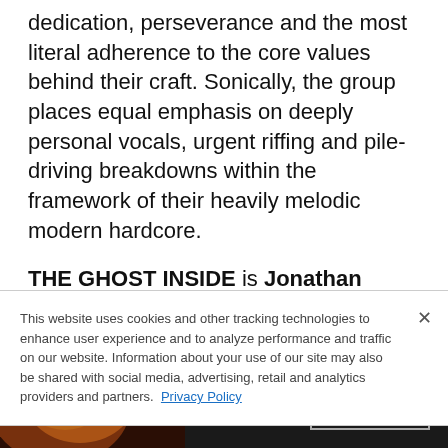dedication, perseverance and the most literal adherence to the core values behind their craft. Sonically, the group places equal emphasis on deeply personal vocals, urgent riffing and pile-driving breakdowns within the framework of their heavily melodic modern hardcore.
THE GHOST INSIDE is Jonathan Vigil (vocals) Chris Davis (guitar) Zach Johnson
This website uses cookies and other tracking technologies to enhance user experience and to analyze performance and traffic on our website. Information about your use of our site may also be shared with social media, advertising, retail and analytics providers and partners. Privacy Policy
[Figure (screenshot): Seamless food delivery advertisement banner with pizza image on left, red Seamless logo button in center, and ORDER NOW button on right against dark background]